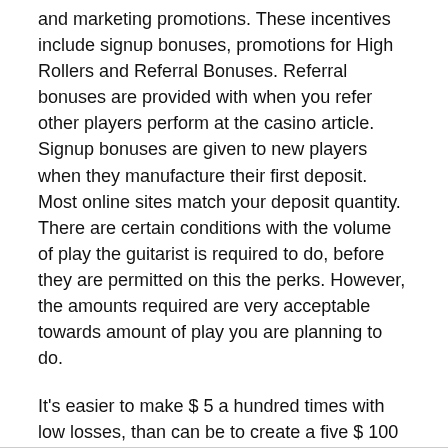and marketing promotions. These incentives include signup bonuses, promotions for High Rollers and Referral Bonuses. Referral bonuses are provided with when you refer other players perform at the casino article. Signup bonuses are given to new players when they manufacture their first deposit. Most online sites match your deposit quantity. There are certain conditions with the volume of play the guitarist is required to do, before they are permitted on this the perks. However, the amounts required are very acceptable towards amount of play you are planning to do.
It's easier to make $ 5 a hundred times with low losses, than can be to create a five $ 100 once substantial losses. It's a method of practice that can time, but probably one of the most powerful and useful tip that any online casino player could ever hope for.